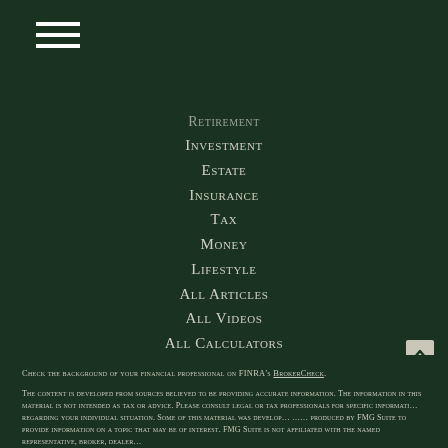Retirement
Investment
Estate
Insurance
Tax
Money
Lifestyle
All Articles
All Videos
All Calculators
All Presentations
Check the background of your financial professional on FINRA's BrokerCheck.
The content is developed from sources believed to be providing accurate information. The information in this material is not intended as tax or advice. Please consult legal or tax professionals for specific informati... regarding your individual situation. Some of this material was develop... produced by FMG Suite to provide information on a topic that may be of interest. FMG Suite is not affiliated with the named representative, broker, dealer...